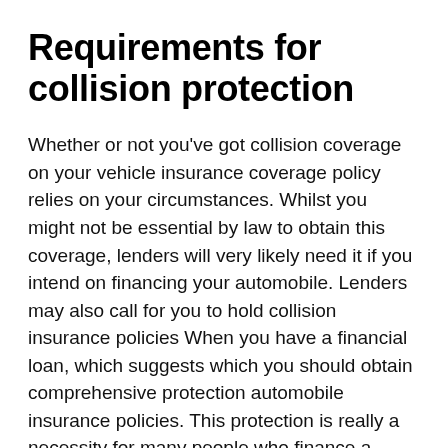Requirements for collision protection
Whether or not you've got collision coverage on your vehicle insurance coverage policy relies on your circumstances. Whilst you might not be essential by law to obtain this coverage, lenders will very likely need it if you intend on financing your automobile. Lenders may also call for you to hold collision insurance policies When you have a financial loan, which suggests which you should obtain comprehensive protection automobile insurance policies. This protection is really a necessity for many people who finance a vehicle, no matter whether new or made use of.
Collision coverage pays the entire price of your automobile inside the function of a collision. Although the insurance company pays the whole price of repairs, it will not be ample